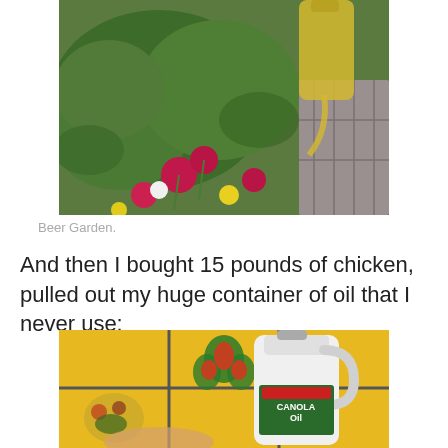[Figure (photo): A garden scene with colorful flowers (magenta, yellow, white) and green foliage, with a glass bottle or container being poured, and stone pavement visible at right.]
Beer Garden.
And then I bought 15 pounds of chicken, pulled out my huge container of oil that I never use:
[Figure (photo): A large white plastic jug of Kirkland Canola Oil sitting in front of colorful yellow decorative kitchen tiles with a painted leaf/flower motif. A hand is partially visible at the bottom.]